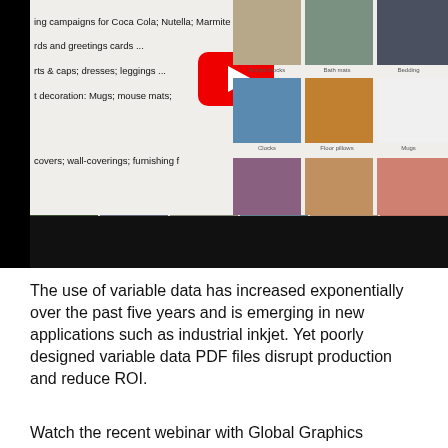[Figure (screenshot): Screenshot of a product video thumbnail showing various print-on-demand products including spiral notebooks, hardcover journals, postcards, acrylic blocks, bath mats, bedding, clocks, floor pillows, mugs, with a YouTube play button overlay and Global Graphics branding]
The use of variable data has increased exponentially over the past five years and is emerging in new applications such as industrial inkjet. Yet poorly designed variable data PDF files disrupt production and reduce ROI.
Watch the recent webinar with Global Graphics